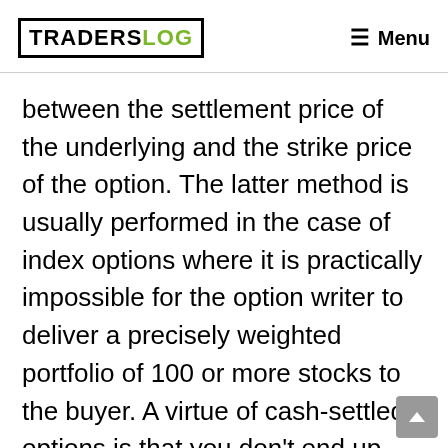TRADERSLOG  Menu
between the settlement price of the underlying and the strike price of the option. The latter method is usually performed in the case of index options where it is practically impossible for the option writer to deliver a precisely weighted portfolio of 100 or more stocks to the buyer. A virtue of cash-settled options is that you don't end up with any